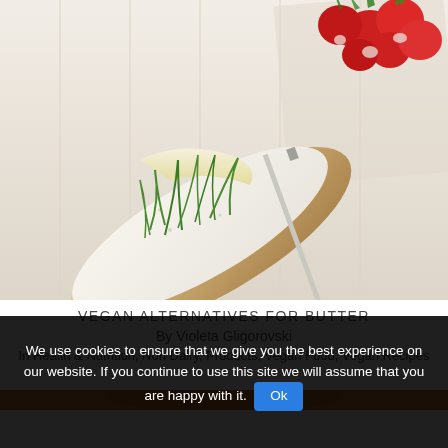[Figure (photo): Food photograph showing a slice of bread topped with cream cheese and fresh herbs (chives/dill), with red radishes and a knife on a white wooden surface background.]
VEGAN ALTERNATIVES FOR BUTTER
By Violeta Gligorovski
In Health & Nutrition, Non Dairy, Products, Vegan Food, Vegan Recipes
[Figure (photo): Partial view of a second food photo at the bottom of the page (orange/warm tones, mostly obscured by cookie banner).]
We use cookies to ensure that we give you the best experience on our website. If you continue to use this site we will assume that you are happy with it.  Ok